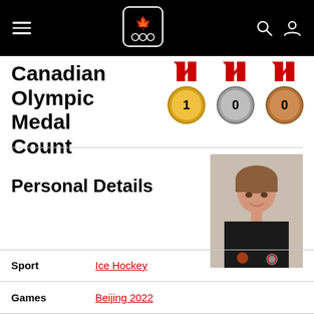Canadian Olympic Committee navigation bar
Canadian Olympic Medal Count
[Figure (infographic): Three Olympic medals (gold, silver, bronze) with red ribbons showing counts: Gold: 1, Silver: 0, Bronze: 0]
Personal Details
[Figure (photo): Athlete headshot - young woman in black Canada Olympic team uniform, smiling]
| Field | Value |
| --- | --- |
| Sport | Ice Hockey |
| Games | Beijing 2022 |
| Born | December 7, 1999 |